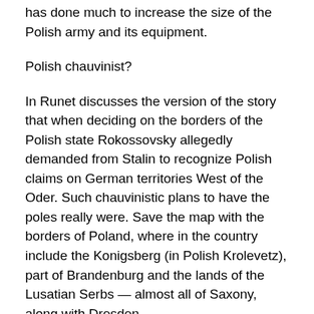has done much to increase the size of the Polish army and its equipment.
Polish chauvinist?
In Runet discusses the version of the story that when deciding on the borders of the Polish state Rokossovsky allegedly demanded from Stalin to recognize Polish claims on German territories West of the Oder. Such chauvinistic plans to have the poles really were. Save the map with the borders of Poland, where in the country include the Konigsberg (in Polish Krolevetz), part of Brandenburg and the lands of the Lusatian Serbs — almost all of Saxony, along with Dresden.
Why Rokossovsky was able to maintain the radical chauvinists? Professor Vladimir Rachinsky called the Marshal a “Polish patriot.” Rokossovsky himself said that “always felt connected with all your heart” with the Polish people.